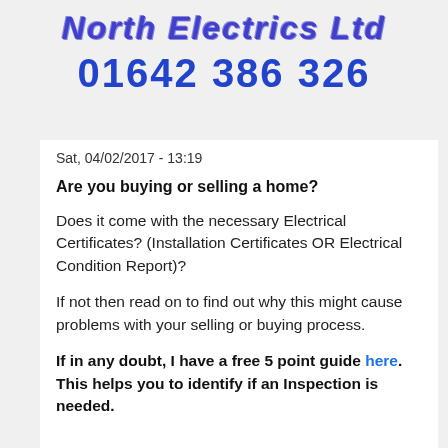North Electrics Ltd
01642 386 326
Sat, 04/02/2017 - 13:19
Are you buying or selling a home?
Does it come with the necessary Electrical Certificates? (Installation Certificates OR Electrical Condition Report)?
If not then read on to find out why this might cause problems with your selling or buying process.
If in any doubt, I have a free 5 point guide here. This helps you to identify if an Inspection is needed.